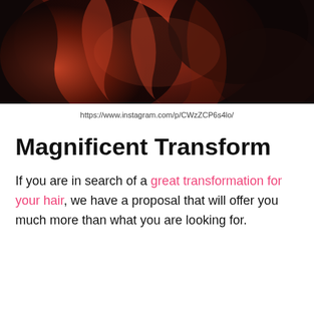[Figure (photo): Photo of a woman with vibrant red/auburn wavy hair seen from behind, dark background]
https://www.instagram.com/p/CWzZCP6s4lo/
Magnificent Transform
If you are in search of a great transformation for your hair, we have a proposal that will offer you much more than what you are looking for.